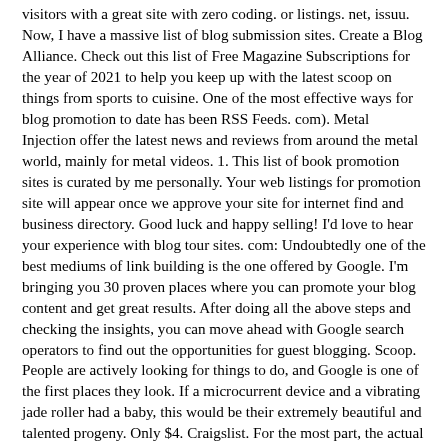visitors with a great site with zero coding. or listings. net, issuu. Now, I have a massive list of blog submission sites. Create a Blog Alliance. Check out this list of Free Magazine Subscriptions for the year of 2021 to help you keep up with the latest scoop on things from sports to cuisine. One of the most effective ways for blog promotion to date has been RSS Feeds. com). Metal Injection offer the latest news and reviews from around the metal world, mainly for metal videos. 1. This list of book promotion sites is curated by me personally. Your web listings for promotion site will appear once we approve your site for internet find and business directory. Good luck and happy selling! I'd love to hear your experience with blog tour sites. com: Undoubtedly one of the best mediums of link building is the one offered by Google. I'm bringing you 30 proven places where you can promote your blog content and get great results. After doing all the above steps and checking the insights, you can move ahead with Google search operators to find out the opportunities for guest blogging. Scoop. People are actively looking for things to do, and Google is one of the first places they look. If a microcurrent device and a vibrating jade roller had a baby, this would be their extremely beautiful and talented progeny. Only $4. Craigslist. For the most part, the actual act of writing a blog post falls squarely in the 80% of tasks. While promoting a free eBook is a proven way to drive traffic, if you choose to employ one of the best CRMs for small business and get serious about selling additional books (or courses), then you even start monetizing your blog if your free readers are ready to upgrade to paid products. There are many free and paid promotion sites, and it is worth registering with some of them. SubmitHub, created by Jason Grishkoff of Indie Shuffle, centralizes the submission process and rewards bloggers for focused listening and timely responses. Create an email list of YouTube